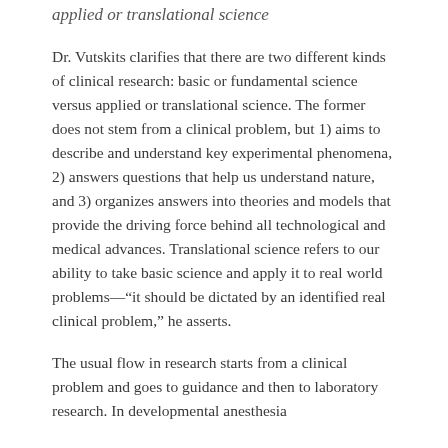applied or translational science
Dr. Vutskits clarifies that there are two different kinds of clinical research: basic or fundamental science versus applied or translational science. The former does not stem from a clinical problem, but 1) aims to describe and understand key experimental phenomena, 2) answers questions that help us understand nature, and 3) organizes answers into theories and models that provide the driving force behind all technological and medical advances. Translational science refers to our ability to take basic science and apply it to real world problems—“it should be dictated by an identified real clinical problem,” he asserts.
The usual flow in research starts from a clinical problem and goes to guidance and then to laboratory research. In developmental anesthesia neurotoxicity, for the last 20 to 30 years, the